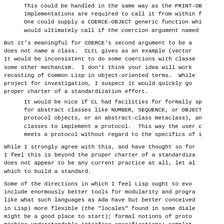This could be handled in the same way as the PRINT-OB Implementations are required to call it from within f One could supply a COERCE-OBJECT generic function whi would ultimately call if the coercion argument named
But it's meaningful for COERCE's second argument to be a does not name a class.  CLtL gives as an example (vector It would be inconsistent to do some coercions with classe some other mechanism.  I don't think your idea will work recasting of Common Lisp in object-oriented terms.  While project for investigation, I suspect it would quickly go proper charter of a standardization effort.
It would be nice if CL had facilities for formally sp for abstract classes like NUMBER, SEQUENCE, or OBJEC protocol objects, or an abstract-class metaclass), a classes to implement a protocol.  This way the user meets a protocol without regard to the specifics of
While I strongly agree with this, and have thought so for I feel this is beyond the proper charter of a standardiza does not appear to be any current practice at all, let al which to build a standard.
Some of the directions in which I feel Lisp ought to evo include enormously better tools for modularity and progra like what such languages as Ada have but better conceived in Lisp) more flexible (the "locales" found in some diale might be a good place to start); formal notions of proto machine-understandable interface specifications; complet